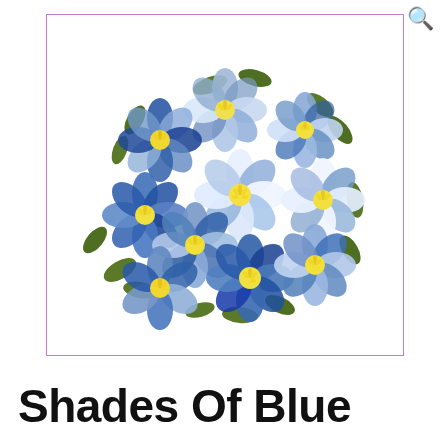[Figure (photo): A cluster of blue and white paper flowers with yellow centers and green leaves, arranged in a rounded bouquet shape on a white background, inside a pink/purple bordered rectangle.]
Shades Of Blue